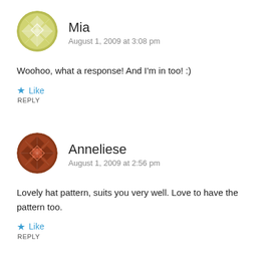[Figure (illustration): Round avatar icon with yellow-green geometric diamond/quilt pattern on white background]
Mia
August 1, 2009 at 3:08 pm
Woohoo, what a response! And I'm in too! :)
Like
REPLY
[Figure (illustration): Round avatar icon with dark brown/red geometric quilt pattern]
Anneliese
August 1, 2009 at 2:56 pm
Lovely hat pattern, suits you very well. Love to have the pattern too.
Like
REPLY